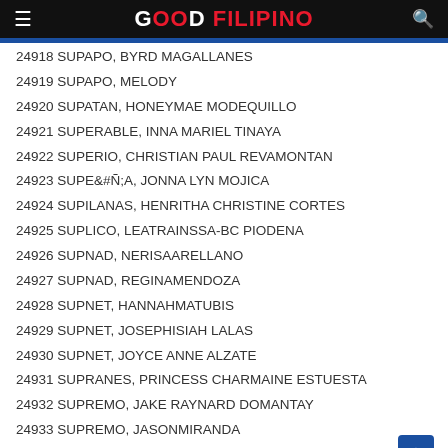GOOD FILIPINO
24918 SUPAPO, BYRD MAGALLANES
24919 SUPAPO, MELODY
24920 SUPATAN, HONEYMAE MODEQUILLO
24921 SUPERABLE, INNA MARIEL TINAYA
24922 SUPERIO, CHRISTIAN PAUL REVAMONTAN
24923 SUPEÑA, JONNA LYN MOJICA
24924 SUPILANAS, HENRITHA CHRISTINE CORTES
24925 SUPLICO, LEATRAINSSA-BC PIODENA
24926 SUPNAD, NERISAARELLANO
24927 SUPNAD, REGINAMENDOZA
24928 SUPNET, HANNAHMATUBIS
24929 SUPNET, JOSEPHISIAH LALAS
24930 SUPNET, JOYCE ANNE ALZATE
24931 SUPRANES, PRINCESS CHARMAINE ESTUESTA
24932 SUPREMO, JAKE RAYNARD DOMANTAY
24933 SUPREMO, JASONMIRANDA
24934 SUPRESENCIA, REYCIA REYES
24935 SUPRESENCIA, THERESA ... (partial)